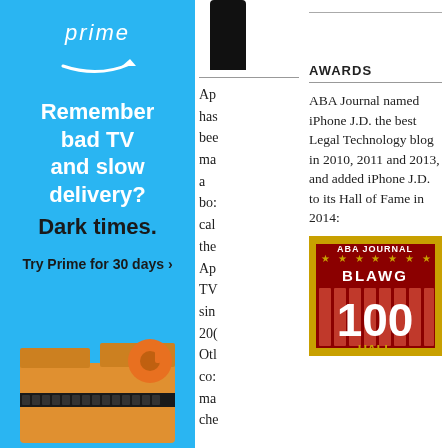[Figure (illustration): Amazon Prime advertisement banner. Blue background. Shows 'prime' logo with arrow, text 'Remember bad TV and slow slow delivery? Dark times.' and 'Try Prime for 30 days' CTA. Bottom shows Amazon box with orange tape dispenser.]
[Figure (illustration): Partial black rectangle (mobile phone top) visible at top of middle column]
Ap has bee ma a bo: cal the Ap TV sin 20( Otl co: ma che
AWARDS
ABA Journal named iPhone J.D. the best Legal Technology blog in 2010, 2011 and 2013, and added iPhone J.D. to its Hall of Fame in 2014:
[Figure (illustration): ABA Journal Blawg 100 Hall of Fame badge. Red and gold design with columns and stars, text 'ABA JOURNAL', 'BLAWG 100', '100', and partial 'Hall' at bottom.]